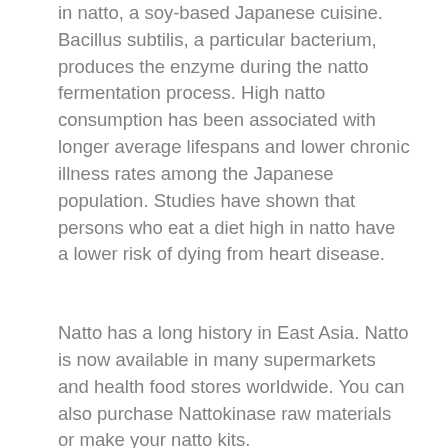in natto, a soy-based Japanese cuisine. Bacillus subtilis, a particular bacterium, produces the enzyme during the natto fermentation process. High natto consumption has been associated with longer average lifespans and lower chronic illness rates among the Japanese population. Studies have shown that persons who eat a diet high in natto have a lower risk of dying from heart disease.
Natto has a long history in East Asia. Natto is now available in many supermarkets and health food stores worldwide. You can also purchase Nattokinase raw materials or make your natto kits.
Consumption of Nattokinase helps in reducing Blood